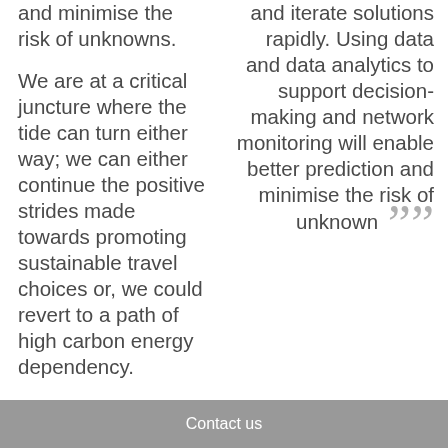and minimise the risk of unknowns.
We are at a critical juncture where the tide can turn either way; we can either continue the positive strides made towards promoting sustainable travel choices or, we could revert to a path of high carbon energy dependency.
Should the latter happen, it would undermine many of our decarbonisation,
and iterate solutions rapidly. Using data and data analytics to support decision-making and network monitoring will enable better prediction and minimise the risk of unknown ””
Contact us